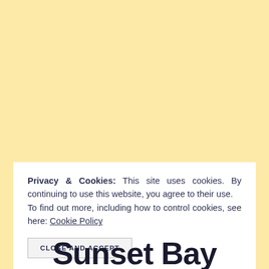Privacy & Cookies: This site uses cookies. By continuing to use this website, you agree to their use. To find out more, including how to control cookies, see here: Cookie Policy
CLOSE AND ACCEPT
Sunset Bay